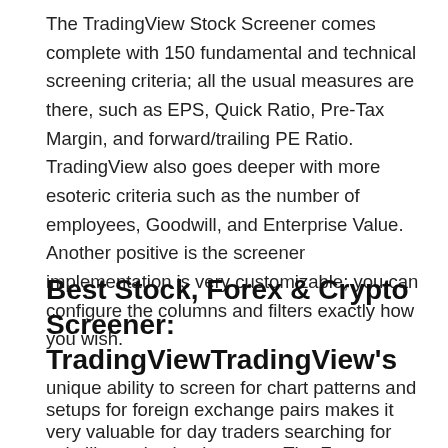The TradingView Stock Screener comes complete with 150 fundamental and technical screening criteria; all the usual measures are there, such as EPS, Quick Ratio, Pre-Tax Margin, and forward/trailing PE Ratio. TradingView also goes deeper with more esoteric criteria such as the number of employees, Goodwill, and Enterprise Value. Another positive is the screener implementation is very customizable; you can configure the columns and filters exactly how you wish.
Best Stock, Forex & Crypto Screener: TradingViewTradingView's
unique ability to screen for chart patterns and setups for foreign exchange pairs makes it very valuable for day traders searching for volatility and using leverage. The Forex screener can